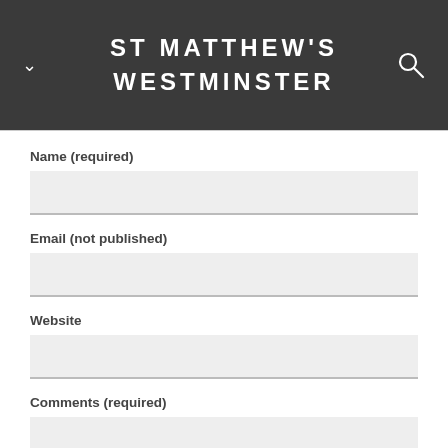ST MATTHEW'S WESTMINSTER
Name (required)
Email (not published)
Website
Comments (required)